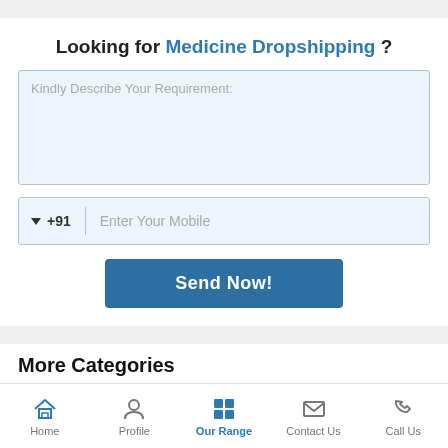Looking for Medicine Dropshipping ?
Kindly Describe Your Requirement:
▼ +91   Enter Your Mobile
Send Now!
More Categories
Home  Profile  Our Range  Contact Us  Call Us